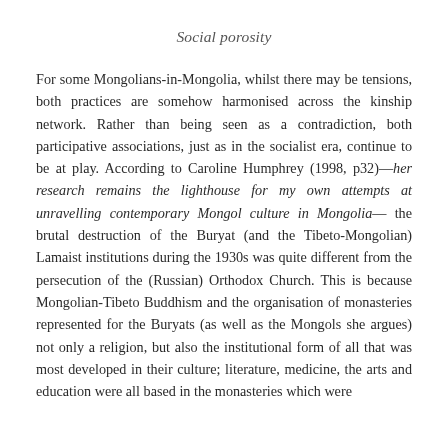Social porosity
For some Mongolians-in-Mongolia, whilst there may be tensions, both practices are somehow harmonised across the kinship network. Rather than being seen as a contradiction, both participative associations, just as in the socialist era, continue to be at play. According to Caroline Humphrey (1998, p32)—her research remains the lighthouse for my own attempts at unravelling contemporary Mongol culture in Mongolia— the brutal destruction of the Buryat (and the Tibeto-Mongolian) Lamaist institutions during the 1930s was quite different from the persecution of the (Russian) Orthodox Church. This is because Mongolian-Tibeto Buddhism and the organisation of monasteries represented for the Buryats (as well as the Mongols she argues) not only a religion, but also the institutional form of all that was most developed in their culture; literature, medicine, the arts and education were all based in the monasteries which were